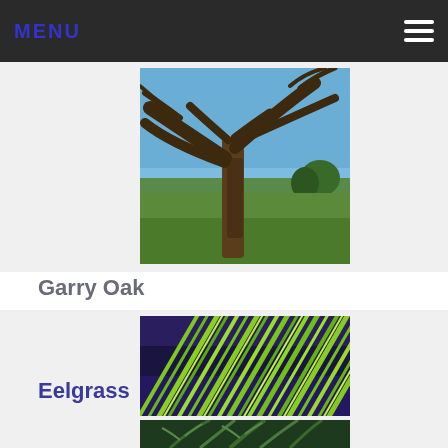MENU
[Figure (photo): Photo of a large Garry Oak tree with twisted bare branches against a blue sky, with green meadow in background]
Garry Oak
[Figure (photo): Close-up photo of eelgrass blades in shades of bright green against dark purple/blue water background]
Eelgrass
[Figure (photo): Partial photo showing green fern or conifer foliage (cropped at bottom of page)]